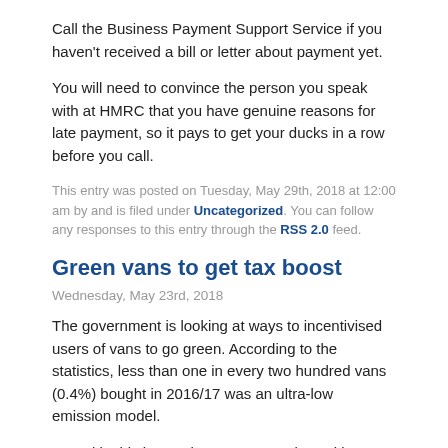Call the Business Payment Support Service if you haven't received a bill or letter about payment yet.
You will need to convince the person you speak with at HMRC that you have genuine reasons for late payment, so it pays to get your ducks in a row before you call.
This entry was posted on Tuesday, May 29th, 2018 at 12:00 am by and is filed under Uncategorized. You can follow any responses to this entry through the RSS 2.0 feed.
Green vans to get tax boost
Wednesday, May 23rd, 2018
The government is looking at ways to incentivised users of vans to go green. According to the statistics, less than one in every two hundred vans (0.4%) bought in 2016/17 was an ultra-low emission model.
To tackle this issue, the government is seeking views on reforms to vehicle excise duty, currently charged at